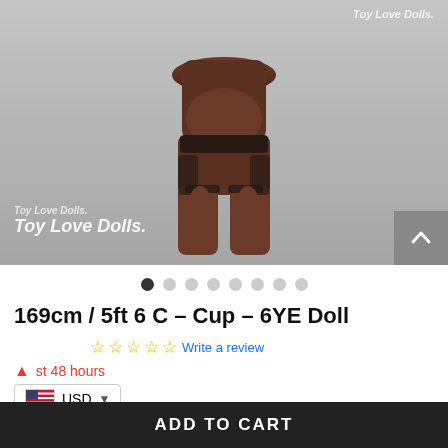[Figure (photo): Product photo of a 169cm/5ft 6 C-Cup 6YE Doll wearing black lingerie against a gray background, with 'Toy Love Dolls' watermark overlaid.]
• • • • • • • •  (carousel dots, first dot active)
169cm / 5ft 6 C – Cup – 6YE Doll
☆☆☆☆☆ Write a review
last 48 hours
USD currency selector
Brand: 6YE Doll
ADD TO CART